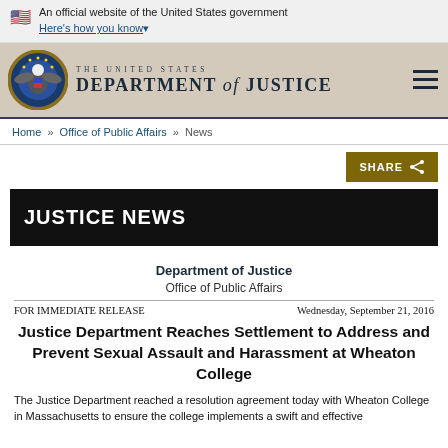An official website of the United States government
Here's how you know
[Figure (logo): United States Department of Justice seal and wordmark]
Home » Office of Public Affairs » News
SHARE
JUSTICE NEWS
Department of Justice
Office of Public Affairs
FOR IMMEDIATE RELEASE
Wednesday, September 21, 2016
Justice Department Reaches Settlement to Address and Prevent Sexual Assault and Harassment at Wheaton College
The Justice Department reached a resolution agreement today with Wheaton College in Massachusetts to ensure the college implements a swift and effective